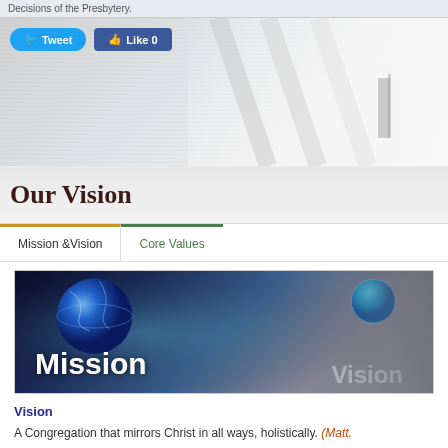Decisions of the Presbytery.
[Figure (screenshot): Tweet and Like social media buttons over a textured grey hero image background]
Our Vision
Mission &Vision | Core Values (tab navigation)
[Figure (photo): Banner image showing a globe and an eye with overlaid text reading 'Mission Vision']
Vision
A Congregation that mirrors Christ in all ways, holistically. (Matt.